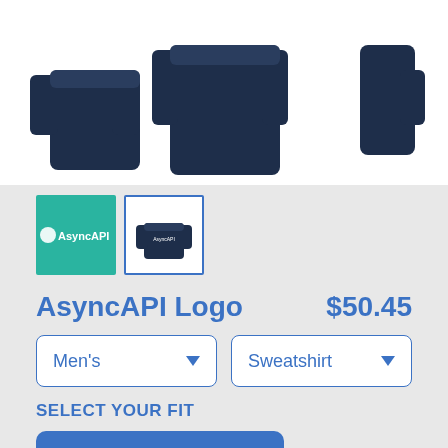[Figure (photo): Product photo of a navy blue sweatshirt shown from front, back, and side angle against white background]
[Figure (photo): Two product thumbnails: a teal square with AsyncAPI logo, and a bordered square showing sweatshirt front]
AsyncAPI Logo
$50.45
Men's (dropdown)
Sweatshirt (dropdown)
SELECT YOUR FIT
$50.45
Sponge Fleece